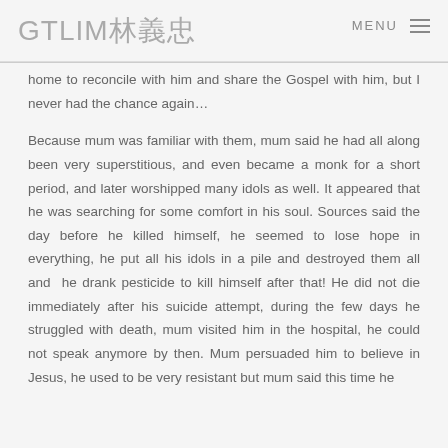GTLIM林義忠  MENU
home to reconcile with him and share the Gospel with him, but I never had the chance again…
Because mum was familiar with them, mum said he had all along been very superstitious, and even became a monk for a short period, and later worshipped many idols as well. It appeared that he was searching for some comfort in his soul. Sources said the day before he killed himself, he seemed to lose hope in everything, he put all his idols in a pile and destroyed them all and he drank pesticide to kill himself after that! He did not die immediately after his suicide attempt, during the few days he struggled with death, mum visited him in the hospital, he could not speak anymore by then. Mum persuaded him to believe in Jesus, he used to be very resistant but mum said this time he